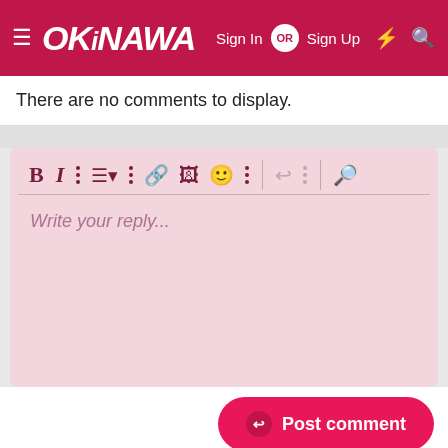OKiNAWA — Sign In OR Sign Up
There are no comments to display.
[Figure (screenshot): Text editor toolbar with bold, italic, list, link, image, emoji, undo, and search icons on a pink background, with placeholder text 'Write your reply...']
Post comment
This site uses cookies to help personalise content, tailor your experience and to keep you logged in if you register.
By continuing to use this site, you are consenting to our use of cookies.
Accept   Learn more...